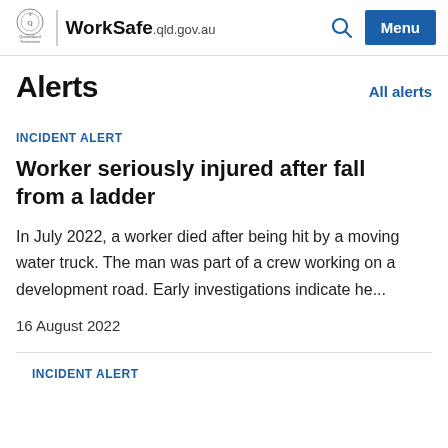WorkSafe.qld.gov.au
Alerts
INCIDENT ALERT
Worker seriously injured after fall from a ladder
In July 2022, a worker died after being hit by a moving water truck. The man was part of a crew working on a development road. Early investigations indicate he...
16 August 2022
INCIDENT ALERT